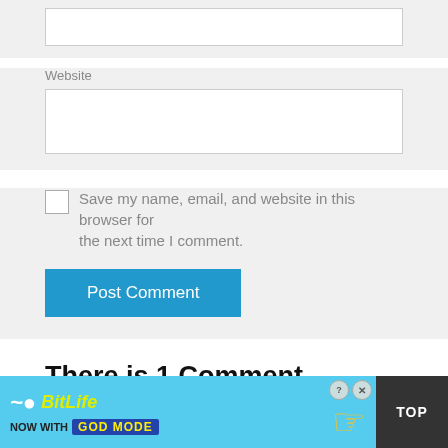Website
Save my name, email, and website in this browser for the next time I comment.
Post Comment
There is 1 Comment
[Figure (screenshot): BitLife advertisement banner: 'NOW WITH GOD MODE' on blue background with pointing hand graphic, close and help buttons, and TOP button on dark background]